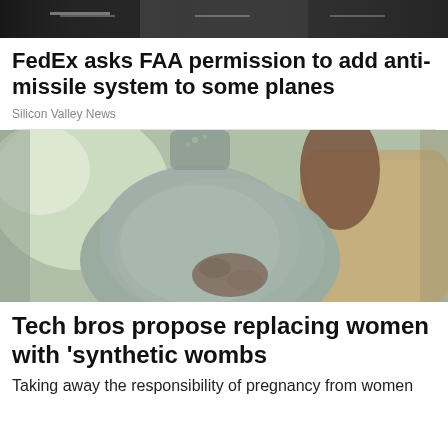[Figure (photo): Dark horizontal banner image showing blurry indoor scene]
FedEx asks FAA permission to add anti-missile system to some planes
Silicon Valley News
[Figure (photo): Close-up photo of a pregnant woman in a grey sleeveless top holding her belly, seated on a couch with a pillow, blurred green background]
Tech bros propose replacing women with 'synthetic wombs
Taking away the responsibility of pregnancy from women